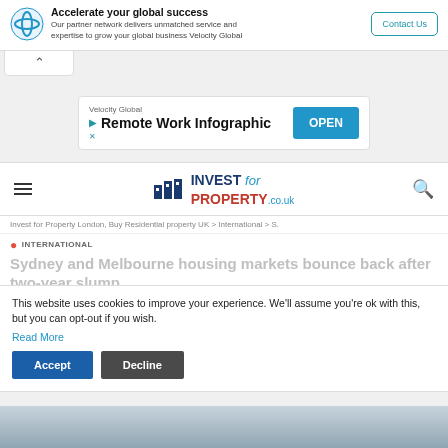[Figure (other): Velocity Global advertisement banner with logo, tagline 'Accelerate your global success', description text, and Contact Us button]
[Figure (other): Collapse/chevron tab UI element]
[Figure (other): Velocity Global 'Remote Work Infographic' ad banner with OPEN button]
[Figure (logo): Invest for Property .co.uk logo with building icon]
Invest for Property London, Buy Residential property UK > International > S.
INTERNATIONAL
Sydney and Melbourne housing markets bounce back after two-year slump
This website uses cookies to improve your experience. We'll assume you're ok with this, but you can opt-out if you wish.
Read More
Henry Thomas   July 16, 2019
[Figure (photo): Partial bottom image, appears to be a cityscape or property photo]